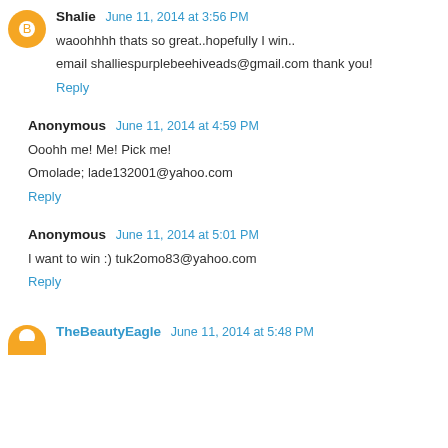Shalie June 11, 2014 at 3:56 PM
waoohhhh thats so great..hopefully I win..
email shalliespurplebeehiveads@gmail.com thank you!
Reply
Anonymous June 11, 2014 at 4:59 PM
Ooohh me! Me! Pick me!
Omolade; lade132001@yahoo.com
Reply
Anonymous June 11, 2014 at 5:01 PM
I want to win :) tuk2omo83@yahoo.com
Reply
TheBeautyEagle June 11, 2014 at 5:48 PM